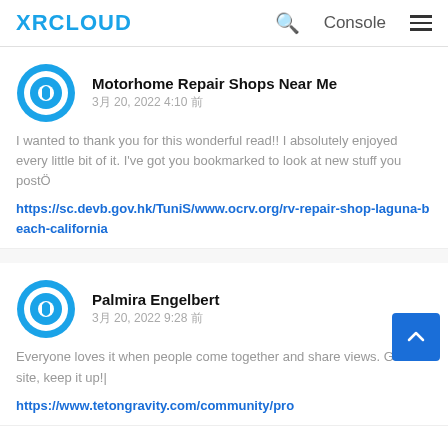XRCLOUD | Console
Motorhome Repair Shops Near Me
3月 20, 2022 4:10 前
I wanted to thank you for this wonderful read!! I absolutely enjoyed every little bit of it. I've got you bookmarked to look at new stuff you postÖ
https://sc.devb.gov.hk/TuniS/www.ocrv.org/rv-repair-shop-laguna-beach-california
Palmira Engelbert
3月 20, 2022 9:28 前
Everyone loves it when people come together and share views. Great site, keep it up!|
https://www.tetongravity.com/community/pro